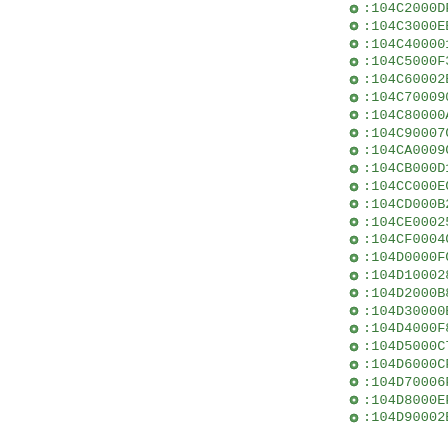:104C2000DF92EF92FF920F931F93CF93DF93
:104C3000EE24FF248091E206882309F489C0
:104C40000110509F485C08091F1069091F206
:104C5000F306B091F406F801248135814681
:104C60002B1739074A075B0708F472C08091
:104C70009091F606A091F706B091F8068217
:104C80000A407B50708F464C0CA01B9010E94
:104C90007C01C701AA27BB27880F991FAA1F
:104CA0009C01AD0169E056954795379527975
:104CB000D1F7C091E906D091EA06E091EB06
:104CC000EC06C20FD31FE41FF51F2FEFA22E
:104CD000B22EC12CD12CA822B922CA22DB22
:104CE000255E3D4FD9014D915D916D917C91
:104CF0004C175D076E077F0771F0CD93DD93
:104D0000FC931397C8014B96AC01BE01CF01
:104D100028223882369F4F801EA0DFB1DE38C
:104D2000B8EFEB16BFEFFB0630F0EE24FF24
:104D30000E941F250DC0C7010E946A23DC01
:104D4000F801B4839583A683B78310B61286
:104D5000C701DF91CF911F910F91FF90EF90
:104D6000CF90BF90AF9008952F923F924F92
:104D70006F927F928F929F92AF92BF92CF92
:104D8000EF92FF920F931F93CF93DF93CDB7
:104D90002E970FB6F894DEBF0FBECDBF9A83